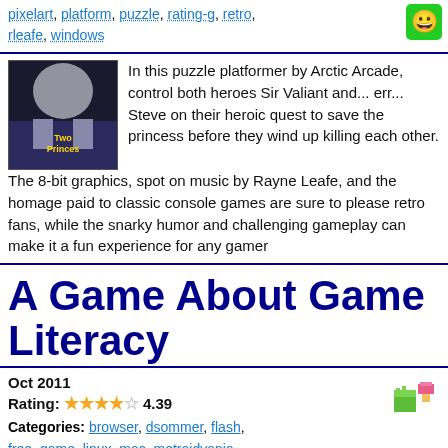pixelart, platform, puzzle, rating-g, retro, rleafe, windows
In this puzzle platformer by Arctic Arcade, control both heroes Sir Valiant and... err... Steve on their heroic quest to save the princess before they wind up killing each other. The 8-bit graphics, spot on music by Rayne Leafe, and the homage paid to classic console games are sure to please retro fans, while the snarky humor and challenging gameplay can make it a fun experience for any gamer
A Game About Game Literacy
Oct 2011
Rating: 4.39
Categories: browser, dsommer, flash, free, game, linux, mac, metroidvania, platform, puzzle, rating-g, simpleidea, windows
Damian Sommer created this short, no-frills little puzzle platformer to throw the